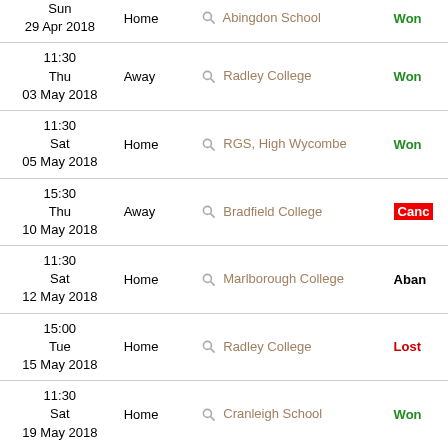| Date/Time | Location | Opponent | Result |
| --- | --- | --- | --- |
| Sun
29 Apr 2018 | Home | Abingdon School | Won |
| 11:30
Thu
03 May 2018 | Away | Radley College | Won |
| 11:30
Sat
05 May 2018 | Home | RGS, High Wycombe | Won |
| 15:30
Thu
10 May 2018 | Away | Bradfield College | Canc |
| 11:30
Sat
12 May 2018 | Home | Marlborough College | Aban |
| 15:00
Tue
15 May 2018 | Home | Radley College | Lost |
| 11:30
Sat
19 May 2018 | Home | Cranleigh School | Won |
| 17:30
Fri
25 May 2018 | Home | OWCC | Won |